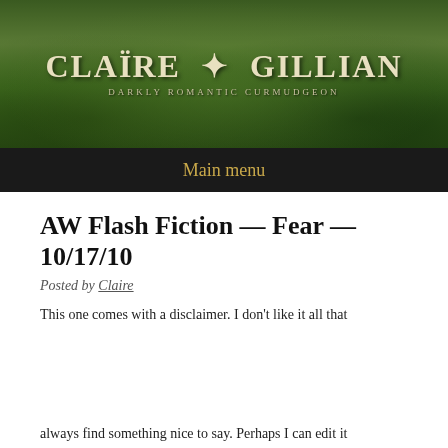[Figure (photo): Website header banner with green nature/forest background and site title 'Claire Gillian' with subtitle 'Darkly Romantic Curmudgeon']
Main menu
AW Flash Fiction — Fear — 10/17/10
Posted by Claire
This one comes with a disclaimer. I don't like it all that
Privacy & Cookies: This site uses cookies. By continuing to use this website, you agree to their use.
To find out more, including how to control cookies, see here:
Cookie Policy
Close and accept
always find something nice to say. Perhaps I can edit it